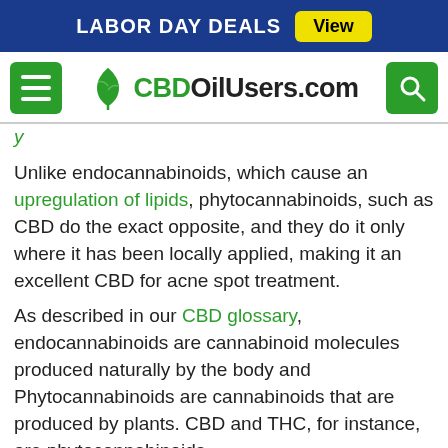LABOR DAY DEALS  View
[Figure (logo): CBDOilUsers.com website header with hamburger menu icon, leaf logo, site name, and search icon]
Unlike endocannabinoids, which cause an upregulation of lipids, phytocannabinoids, such as CBD do the exact opposite, and they do it only where it has been locally applied, making it an excellent CBD for acne spot treatment.
As described in our CBD glossary, endocannabinoids are cannabinoid molecules produced naturally by the body and Phytocannabinoids are cannabinoids that are produced by plants. CBD and THC, for instance, are phytocannabinoids.
In addition to CBD demonstrating its ability to inhibit lipid